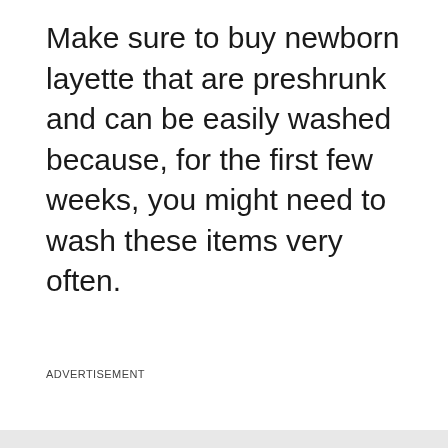Make sure to buy newborn layette that are preshrunk and can be easily washed because, for the first few weeks, you might need to wash these items very often.
ADVERTISEMENT